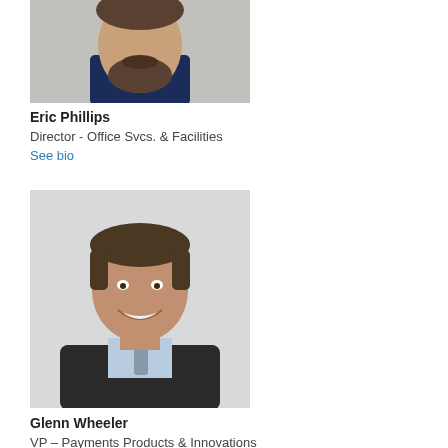[Figure (photo): Headshot of Eric Phillips, man with dark beard wearing a navy blue patterned shirt, cropped at top of page]
Eric Phillips
Director - Office Svcs. & Facilities
See bio
[Figure (photo): Professional headshot of Glenn Wheeler, middle-aged man in dark suit with light blue shirt and tie, smiling, against light gray background]
Glenn Wheeler
VP – Payments Products & Innovations
See bio